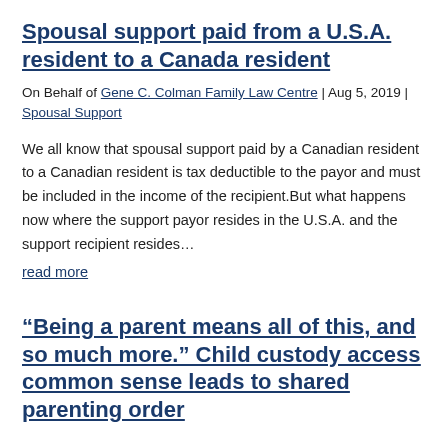Spousal support paid from a U.S.A. resident to a Canada resident
On Behalf of Gene C. Colman Family Law Centre | Aug 5, 2019 | Spousal Support
We all know that spousal support paid by a Canadian resident to a Canadian resident is tax deductible to the payor and must be included in the income of the recipient.But what happens now where the support payor resides in the U.S.A. and the support recipient resides…
read more
“Being a parent means all of this, and so much more.” Child custody access common sense leads to shared parenting order